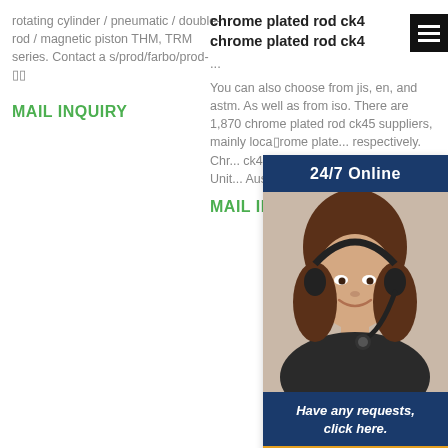rotating cylinder / pneumatic / double-rod / magnetic piston THM, TRM series. Contact a s/prod/farbo/prod-□□
MAIL INQUIRY
chrome plated rod ck45 chrome plated rod ck45
...
You can also choose from jis, en, and astm. As well as from iso. There are 1,870 chrome plated rod ck45 suppliers, mainly loca□rome plate... respectively. Chr... ck45 products a... in Pakistan, Unit... Australia.
MAIL INQUIRY
[Figure (infographic): Customer service widget overlay with dark blue header '24/7 Online', photo of a smiling woman with a headset, dark blue footer text 'Have any requests, click here.' and an orange 'Quotation' button.]